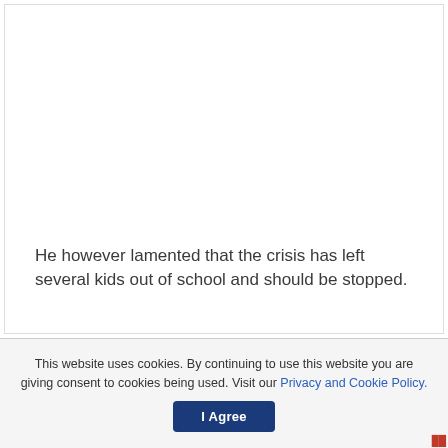He however lamented that the crisis has left several kids out of school and should be stopped.
This website uses cookies. By continuing to use this website you are giving consent to cookies being used. Visit our Privacy and Cookie Policy.